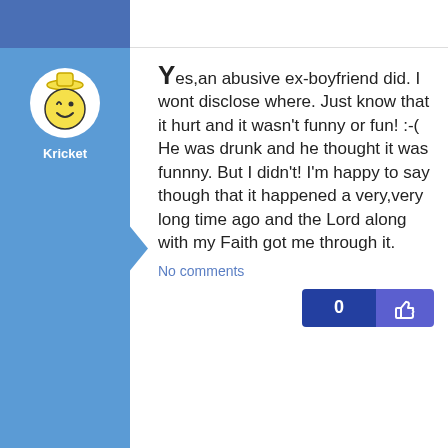Yes,an abusive ex-boyfriend did. I wont disclose where. Just know that it hurt and it wasn't funny or fun! :-( He was drunk and he thought it was funnny. But I didn't! I'm happy to say though that it happened a very,very long time ago and the Lord along with my Faith got me through it.
No comments
NO but i'm hoping this is my